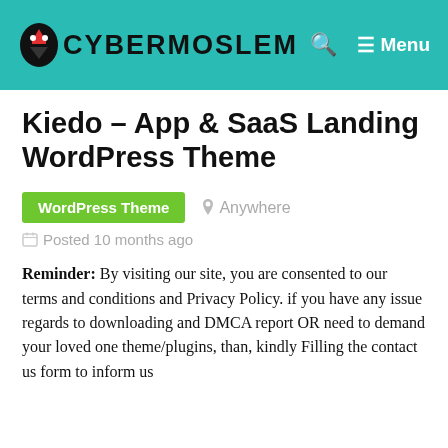CYBERMOSLEM — Menu
Kiedo – App & SaaS Landing WordPress Theme
WordPress Theme   Anywhere
Posted 10 months ago
Reminder: By visiting our site, you are consented to our terms and conditions and Privacy Policy. if you have any issue regards to downloading and DMCA report OR need to demand your loved one theme/plugins, than, kindly Filling the contact us form to inform us